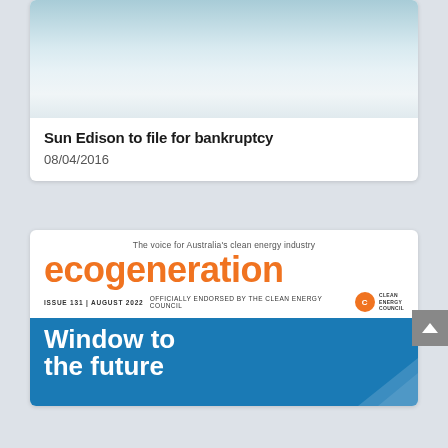[Figure (photo): Light blue and white gradient background image, top portion of an article card]
Sun Edison to file for bankruptcy
08/04/2016
[Figure (illustration): Ecogeneration magazine cover — Issue 131, August 2022. Tagline: The voice for Australia's clean energy industry. Officially endorsed by the Clean Energy Council. Blue banner with white bold text 'Window to the future'.]
The voice for Australia's clean energy industry
ecogeneration
ISSUE 131 | AUGUST 2022    OFFICIALLY ENDORSED BY THE CLEAN ENERGY COUNCIL
Window to
the future